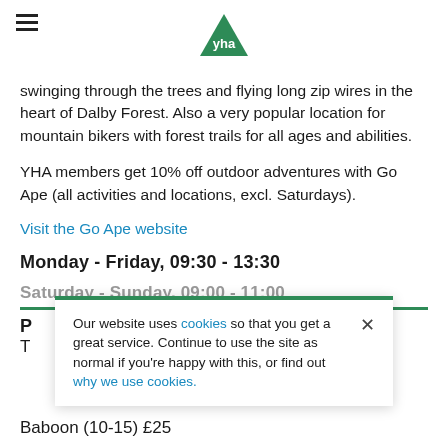YHA (hamburger menu + logo)
swinging through the trees and flying long zip wires in the heart of Dalby Forest. Also a very popular location for mountain bikers with forest trails for all ages and abilities.
YHA members get 10% off outdoor adventures with Go Ape (all activities and locations, excl. Saturdays).
Visit the Go Ape website
Monday - Friday, 09:30 - 13:30
Saturday - Sunday, 09:00 - 11:00
P
T
Baboon (10-15) £25
Our website uses cookies so that you get a great service. Continue to use the site as normal if you're happy with this, or find out why we use cookies.